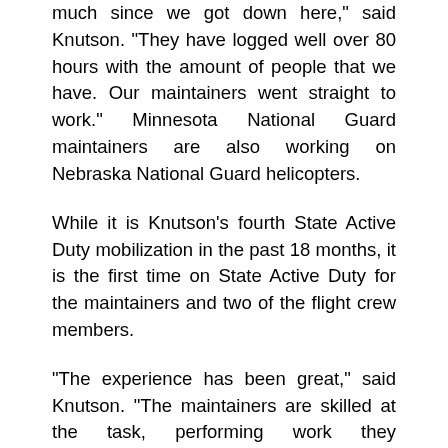much since we got down here," said Knutson. "They have logged well over 80 hours with the amount of people that we have. Our maintainers went straight to work." Minnesota National Guard maintainers are also working on Nebraska National Guard helicopters.
While it is Knutson’s fourth State Active Duty mobilization in the past 18 months, it is the first time on State Active Duty for the maintainers and two of the flight crew members.
“The experience has been great,” said Knutson. “The maintainers are skilled at the task, performing work they traditionally conduct at weekend drills and when deployed. The flight crew gains from an operational environment that requires integrating with other agencies as part of a complex mission.”
Community members, the welcoming party and